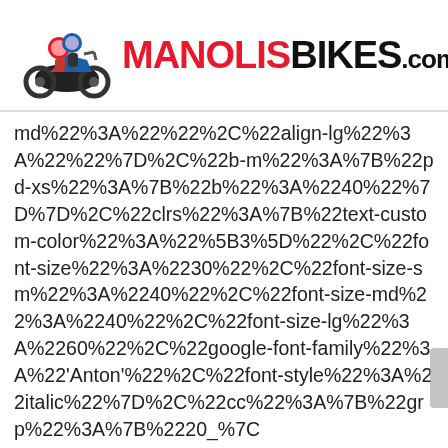MANOLISBIKES.com
md%22%3A%22%22%2C%22align-lg%22%3A%22%22%7D%2C%22b-m%22%3A%7B%22pd-xs%22%3A%7B%22b%22%3A%2240%22%7D%7D%2C%22clrs%22%3A%7B%22text-custom-color%22%3A%22%5B3%5D%22%2C%22font-size%22%3A%2230%22%2C%22font-size-sm%22%3A%2240%22%2C%22font-size-md%22%3A%2240%22%2C%22font-size-lg%22%3A%2260%22%2C%22google-font-family%22%3A%22'Anton'%22%2C%22font-style%22%3A%22italic%22%7D%2C%22cc%22%3A%7B%22grp%22%3A%7B%2220_%7C